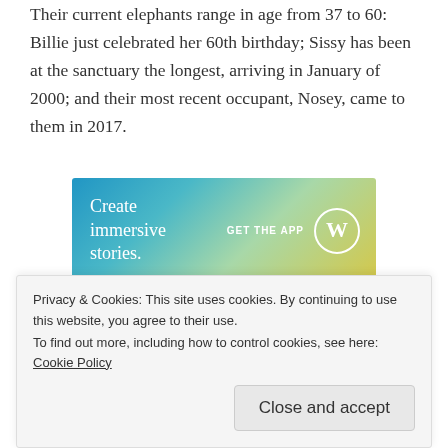Their current elephants range in age from 37 to 60: Billie just celebrated her 60th birthday; Sissy has been at the sanctuary the longest, arriving in January of 2000; and their most recent occupant, Nosey, came to them in 2017.
[Figure (other): WordPress advertisement banner with gradient blue-to-yellow-green background. Text reads 'Create immersive stories.' with 'GET THE APP' and WordPress logo on the right side.]
Historically, the Asian elephants and African elephants
Privacy & Cookies: This site uses cookies. By continuing to use this website, you agree to their use.
To find out more, including how to control cookies, see here: Cookie Policy
Close and accept